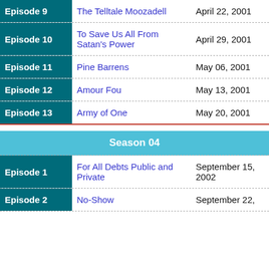| Episode | Title | Date |
| --- | --- | --- |
| Episode 9 | The Telltale Moozadell | April 22, 2001 |
| Episode 10 | To Save Us All From Satan's Power | April 29, 2001 |
| Episode 11 | Pine Barrens | May 06, 2001 |
| Episode 12 | Amour Fou | May 13, 2001 |
| Episode 13 | Army of One | May 20, 2001 |
Season 04
| Episode | Title | Date |
| --- | --- | --- |
| Episode 1 | For All Debts Public and Private | September 15, 2002 |
| Episode 2 | No-Show | September 22, |